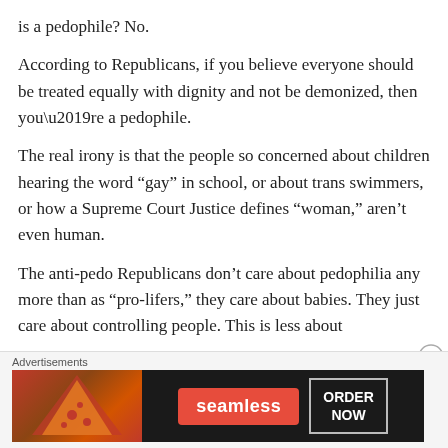is a pedophile? No.
According to Republicans, if you believe everyone should be treated equally with dignity and not be demonized, then you’re a pedophile.
The real irony is that the people so concerned about children hearing the word “gay” in school, or about trans swimmers, or how a Supreme Court Justice defines “woman,” aren’t even human.
The anti-pedo Republicans don’t care about pedophilia any more than as “pro-lifers,” they care about babies. They just care about controlling people. This is less about
Advertisements
[Figure (photo): Seamless food delivery advertisement banner showing pizza slices on the left, the Seamless logo in red center, and an ORDER NOW button on the right against a dark background.]